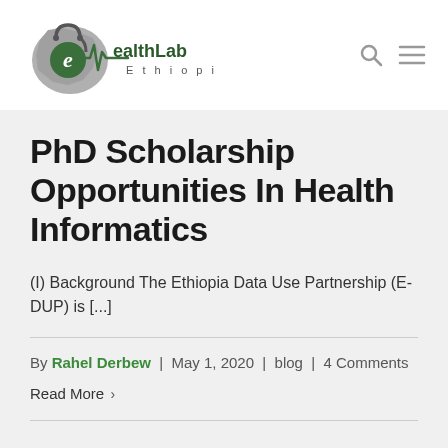[Figure (logo): eHealthLab Ethiopia logo with Ethiopia map silhouette, stethoscope, heartbeat line, and text 'eHealthLab Ethiopia']
PhD Scholarship Opportunities In Health Informatics
(I) Background The Ethiopia Data Use Partnership (E-DUP) is [...]
By Rahel Derbew | May 1, 2020 | blog | 4 Comments
Read More ›